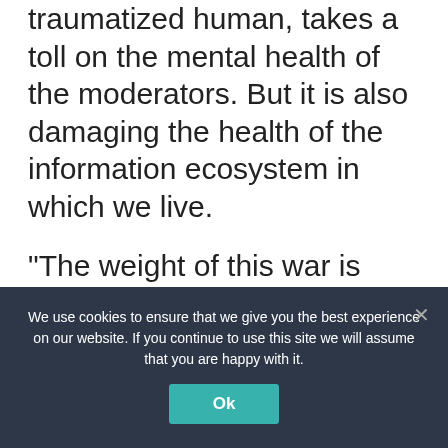overworked, underpaid and often traumatized human, takes a toll on the mental health of the moderators. But it is also damaging the health of the information ecosystem in which we live.
“The weight of this war is falling on outsourced moderators, who have repeatedly sounded the alarm,” says Martha Dark, director of Foxglove Legal, a UK-based tech justice non-profit group that is working on issues of mistreatment of Facebook content moderators around the world.
We use cookies to ensure that we give you the best experience on our website. If you continue to use this site we will assume that you are happy with it.
Ok